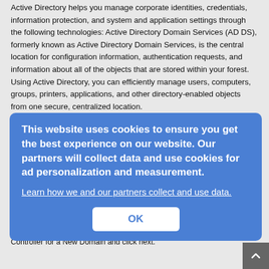Active Directory helps you manage corporate identities, credentials, information protection, and system and application settings through the following technologies: Active Directory Domain Services (AD DS), formerly known as Active Directory Domain Services, is the central location for configuration information, authentication requests, and information about all of the objects that are stored within your forest. Using Active Directory, you can efficiently manage users, computers, groups, printers, applications, and other directory-enabled objects from one secure, centralized location.
Alternatively, you can start the Active Directory Installation Wizard by clicking Start Run and typing dcpromo.
Click Next on the Welcome to The Active Directory Installation Wizard page to begin the installation process. The Operating System Compatibility page of the wizard provides an important note about operating system compatibility. Click Next to continue.
On the Domain Controller Type page, specify the type of domain controller this server will be. To choose the domain controller type, select Domain Controller for a New Domain and click next.
[Figure (screenshot): Cookie consent overlay banner with blue background showing cookie policy message, a link to learn more, and an OK button.]